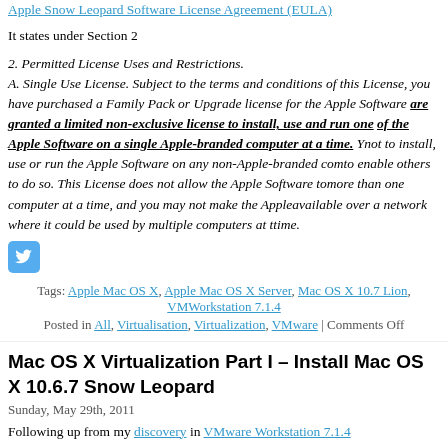Apple Snow Leopard Software License Agreement (EULA)
It states under Section 2
2. Permitted License Uses and Restrictions.
A. Single Use License. Subject to the terms and conditions of this License, you have purchased a Family Pack or Upgrade license for the Apple Software, are granted a limited non-exclusive license to install, use and run one (1) copy of the Apple Software on a single Apple-branded computer at a time. You agree not to install, use or run the Apple Software on any non-Apple-branded computer or to enable others to do so. This License does not allow the Apple Software to exist on more than one computer at a time, and you may not make the Apple Software available over a network where it could be used by multiple computers at the same time.
[Figure (logo): Twitter icon button (blue rounded square with bird)]
Tags: Apple Mac OS X, Apple Mac OS X Server, Mac OS X 10.7 Lion, VMware Workstation 7.1.4
Posted in All, Virtualisation, Virtualization, VMware | Comments Off
Mac OS X Virtualization Part I – Install Mac OS X 10.6.7 Snow Leopard
Sunday, May 29th, 2011
Following up from my discovery in VMware Workstation 7.1.4
I thought I would trying virtualising a few Mac OS X systems for test and e